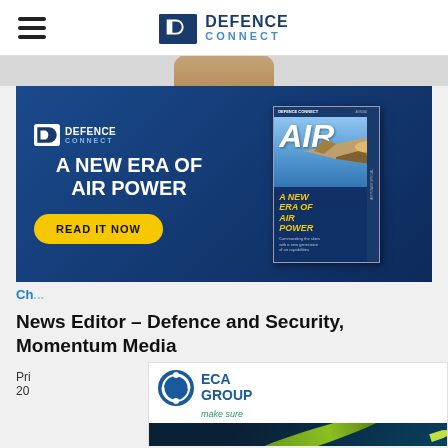Defence Connect
[Figure (photo): Partial photo of a person's face/head at the top of the page]
[Figure (infographic): Defence Connect advertisement banner: A NEW ERA OF AIR POWER, READ IT NOW, with magazine cover showing AIR publication]
Ch...
News Editor – Defence and Security, Momentum Media
Pri... 20...
[Figure (logo): ECA Group advertisement with logo and torpedo/underwater drone image]
Mortgage Business, where he covered developments